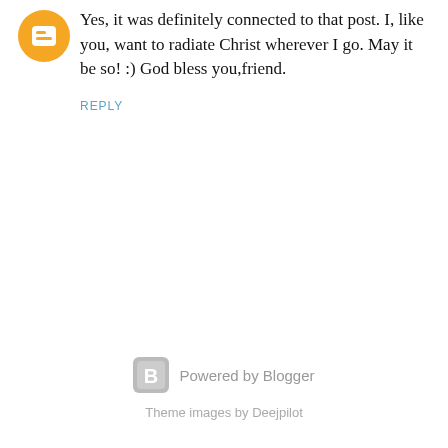[Figure (logo): Orange circular Blogger avatar/logo icon]
Yes, it was definitely connected to that post. I, like you, want to radiate Christ wherever I go. May it be so! :) God bless you,friend.
REPLY
Powered by Blogger
Theme images by Deejpilot